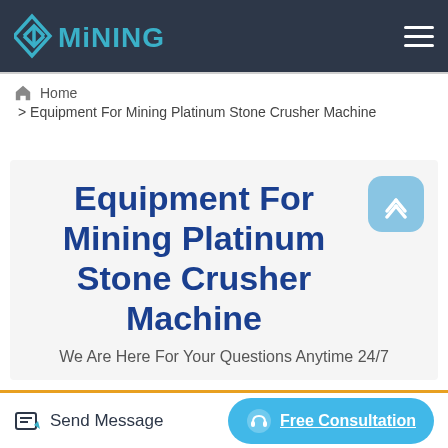[Figure (logo): Mining company logo with diamond/chevron icon in teal/blue and MINING text in bold teal letters]
Home > Equipment For Mining Platinum Stone Crusher Machine
Equipment For Mining Platinum Stone Crusher Machine
We Are Here For Your Questions Anytime 24/7
Send Message
Free Consultation